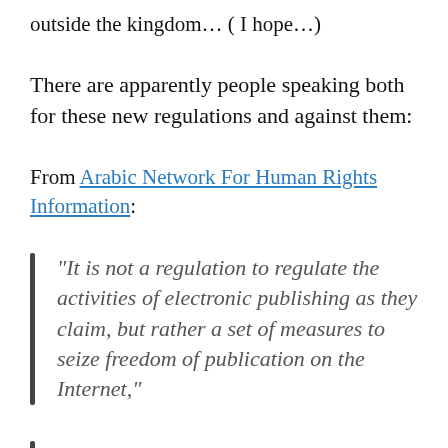outside the kingdom… ( I hope…)
There are apparently people speaking both for these new regulations and against them:
From Arabic Network For Human Rights Information:
“It is not a regulation to regulate the activities of electronic publishing as they claim, but rather a set of measures to seize freedom of publication on the Internet,”
“Authorities will not be able to stop expression, the snowball has started to